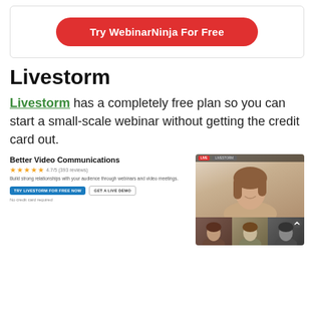[Figure (screenshot): Red pill-shaped button reading 'Try WebinarNinja For Free' on white card with border]
Livestorm
Livestorm has a completely free plan so you can start a small-scale webinar without getting the credit card out.
[Figure (screenshot): Livestorm product listing showing 'Better Video Communications', 4.7/5 star rating, description text, 'TRY LIVESTORM FOR FREE NOW' and 'GET A LIVE DEMO' buttons, and screenshot of video call interface with woman and thumbnail participants]